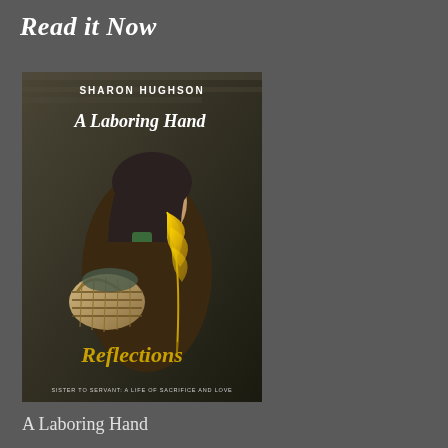Read it Now
[Figure (illustration): Book cover for 'A Laboring Hand Reflections' by Sharon Hughson. Shows a young woman in medieval/historical dress with a headscarf holding a wicker basket, with a yellow quill feather in the foreground. Text on cover: SHARON HUGHSON, A Laboring Hand, Reflections, SISTER TO SERVANT: A LIFE OF SACRIFICE AND LOVE. Dark stone background.]
A Laboring Hand